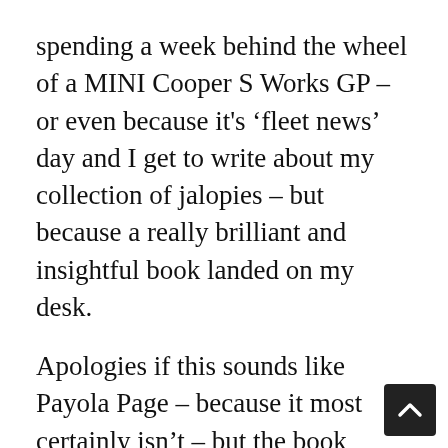spending a week behind the wheel of a MINI Cooper S Works GP – or even because it's 'fleet news' day and I get to write about my collection of jalopies – but because a really brilliant and insightful book landed on my desk.
Apologies if this sounds like Payola Page – because it most certainly isn't – but the book 'Making Cars at Longbridge' really is rather good, and even if you have a passing interest in the place (which I'm sure you don't reading this site), it's well worth tracking down a copy of the book